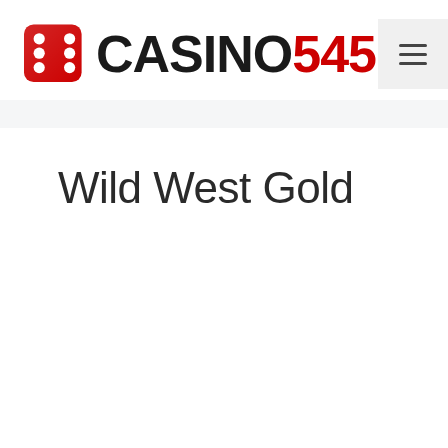[Figure (logo): Casino545 logo with red dice icon and bold text 'CASINO' in black and '545' in red]
Wild West Gold